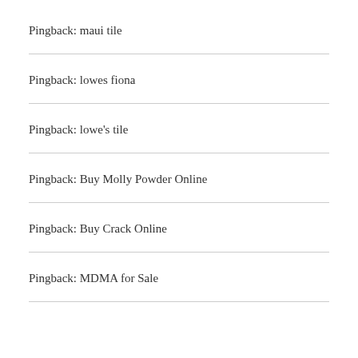Pingback: maui tile
Pingback: lowes fiona
Pingback: lowe's tile
Pingback: Buy Molly Powder Online
Pingback: Buy Crack Online
Pingback: MDMA for Sale